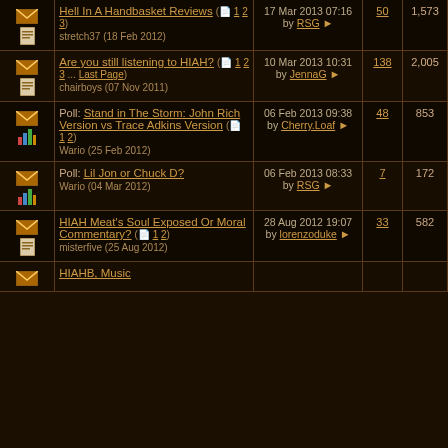| Icons | Topic | Last Post | Replies | Views |
| --- | --- | --- | --- | --- |
| [envelope][doc] | Hell In A Handbasket Reviews ([1 2 3])
stretch37 (18 Feb 2012) | 17 Mar 2013 07:16
by RSG → | 50 | 1,573 |
| [envelope][doc] | Are you still listening to HIAH? ([1 2 3 ... Last Page])
chairboys (07 Nov 2011) | 10 Mar 2013 10:31
by JennaG → | 138 | 2,005 |
| [envelope][poll] | Poll: Stand in The Storm: John Rich Version vs Trace Adkins Version ([1 2])
Wario (25 Feb 2012) | 06 Feb 2013 09:38
by Cherry.Loaf → | 48 | 853 |
| [envelope][poll] | Poll: Lil Jon or Chuck D?
Wario (04 Mar 2012) | 06 Feb 2013 08:33
by RSG → | 7 | 172 |
| [envelope][doc] | HIAH Meat's Soul Exposed Or Moral Commentary? ([1 2])
misterfive (25 Aug 2012) | 28 Aug 2012 19:07
by lorenzoduke → | 33 | 582 |
| [envelope] | HIAHB, Music |  |  |  |